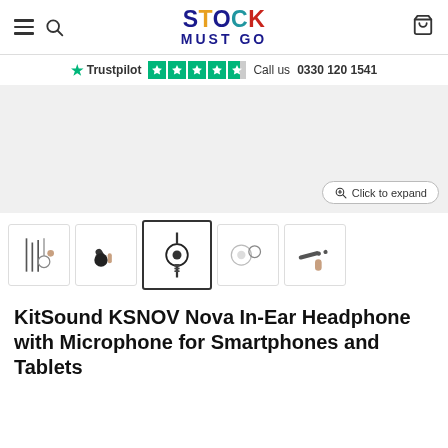Stock Must Go — hamburger menu, search, cart
Trustpilot ★★★★½  Call us  0330 120 1541
[Figure (photo): Product image area showing earphones on light grey background with Click to expand button]
[Figure (photo): Thumbnail strip of earphone product images; third thumbnail (earphones displayed flat) is selected/active]
KitSound KSNOV Nova In-Ear Headphone with Microphone for Smartphones and Tablets